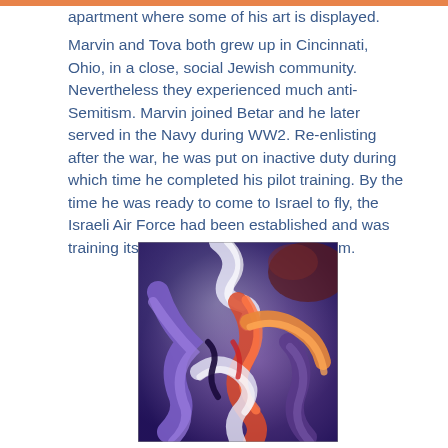apartment where some of his art is displayed. Marvin and Tova both grew up in Cincinnati, Ohio, in a close, social Jewish community. Nevertheless they experienced much anti-Semitism. Marvin joined Betar and he later served in the Navy during WW2. Re-enlisting after the war, he was put on inactive duty during which time he completed his pilot training. By the time he was ready to come to Israel to fly, the Israeli Air Force had been established and was training its own pilots and didn't need him.
[Figure (illustration): Abstract colorful painting with swirling figures in purple, blue, red, orange, and white tones, depicting human-like forms in motion.]